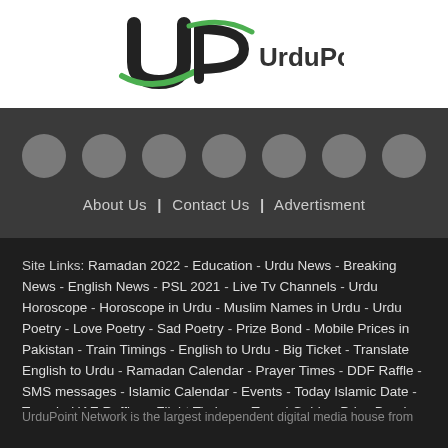[Figure (logo): UrduPoint logo with green and black stylized UP letters and UrduPoint text]
[Figure (other): Seven gray circular social media icon placeholders in a row]
About Us | Contact Us | Advertisment
Site Links: Ramadan 2022 - Education - Urdu News - Breaking News - English News - PSL 2021 - Live Tv Channels - Urdu Horoscope - Horoscope in Urdu - Muslim Names in Urdu - Urdu Poetry - Love Poetry - Sad Poetry - Prize Bond - Mobile Prices in Pakistan - Train Timings - English to Urdu - Big Ticket - Translate English to Urdu - Ramadan Calendar - Prayer Times - DDF Raffle - SMS messages - Islamic Calendar - Events - Today Islamic Date - Travel - UAE Raffles - Flight Timings - Travel Guide - Prize Bond Schedule - Arabic News - Urdu Cooking Recipes - Directory - Pakistan Results - Past Papers - BISE - Schools in Pakistan - Academies & Tuition Centers - Car Prices - Bikes Prices
UrduPoint Network is the largest independent digital media house from